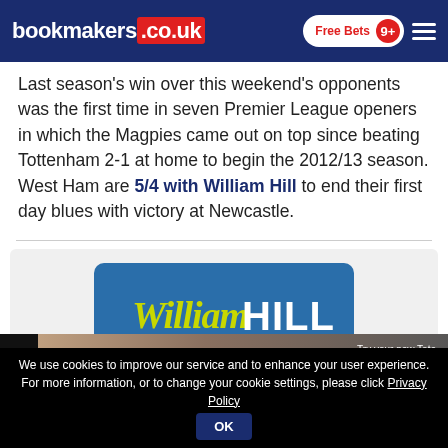bookmakers.co.uk | Free Bets 9+
Last season's win over this weekend's opponents was the first time in seven Premier League openers in which the Magpies came out on top since beating Tottenham 2-1 at home to begin the 2012/13 season. West Ham are 5/4 with William Hill to end their first day blues with victory at Newcastle.
[Figure (logo): William Hill logo on blue rounded rectangle background]
[Figure (photo): Advertisement banner showing a person and Tote promotion text]
We use cookies to improve our service and to enhance your user experience. For more information, or to change your cookie settings, please click Privacy Policy   OK